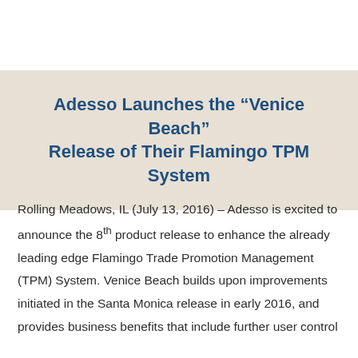Adesso Launches the “Venice Beach” Release of Their Flamingo TPM System
Rolling Meadows, IL (July 13, 2016) – Adesso is excited to announce the 8th product release to enhance the already leading edge Flamingo Trade Promotion Management (TPM) System. Venice Beach builds upon improvements initiated in the Santa Monica release in early 2016, and provides business benefits that include further user control